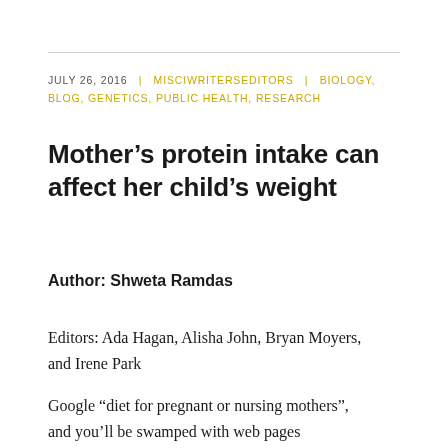JULY 26, 2016 | MISCIWRITERSEDITORS | BIOLOGY, BLOG, GENETICS, PUBLIC HEALTH, RESEARCH
Mother’s protein intake can affect her child’s weight
Author: Shweta Ramdas
Editors: Ada Hagan, Alisha John, Bryan Moyers, and Irene Park
Google “diet for pregnant or nursing mothers”, and you’ll be swamped with web pages recommending foods that help the baby and